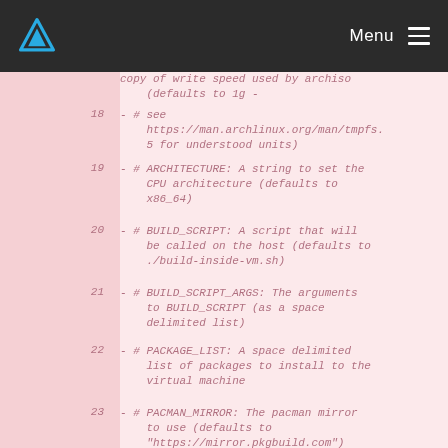Menu
copy of write speed used by archiso (defaults to 1g -
18  - # see https://man.archlinux.org/man/tmpfs.5 for understood units)
19  - # ARCHITECTURE: A string to set the CPU architecture (defaults to x86_64)
20  - # BUILD_SCRIPT: A script that will be called on the host (defaults to ./build-inside-vm.sh)
21  - # BUILD_SCRIPT_ARGS: The arguments to BUILD_SCRIPT (as a space delimited list)
22  - # PACKAGE_LIST: A space delimited list of packages to install to the virtual machine
23  - # PACMAN_MIRROR: The pacman mirror to use (defaults to "https://mirror.pkgbuild.com")
24  - # QEMU_DISK_SIZE: A string given to